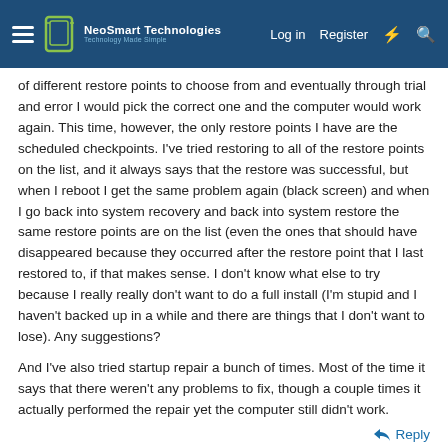NeoSmart Technologies — Log in | Register
of different restore points to choose from and eventually through trial and error I would pick the correct one and the computer would work again. This time, however, the only restore points I have are the scheduled checkpoints. I've tried restoring to all of the restore points on the list, and it always says that the restore was successful, but when I reboot I get the same problem again (black screen) and when I go back into system recovery and back into system restore the same restore points are on the list (even the ones that should have disappeared because they occurred after the restore point that I last restored to, if that makes sense. I don't know what else to try because I really really don't want to do a full install (I'm stupid and I haven't backed up in a while and there are things that I don't want to lose). Any suggestions?
And I've also tried startup repair a bunch of times. Most of the time it says that there weren't any problems to fix, though a couple times it actually performed the repair yet the computer still didn't work.